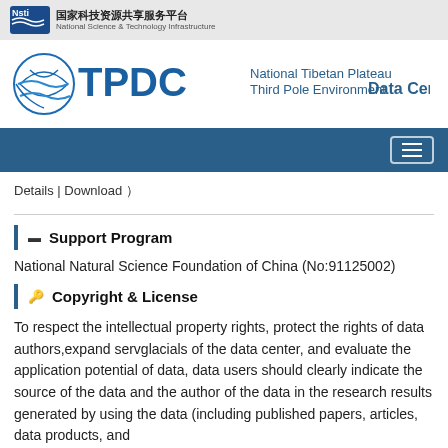国家科技资源共享服务平台 National Science & Technology Infrastructure
[Figure (logo): TPDC National Tibetan Plateau Third Pole Environment Data Center logo]
Details | Download )
Support Program
National Natural Science Foundation of China (No:91125002)
Copyright & License
To respect the intellectual property rights, protect the rights of data authors,expand servglacials of the data center, and evaluate the application potential of data, data users should clearly indicate the source of the data and the author of the data in the research results generated by using the data (including published papers, articles, data products, and